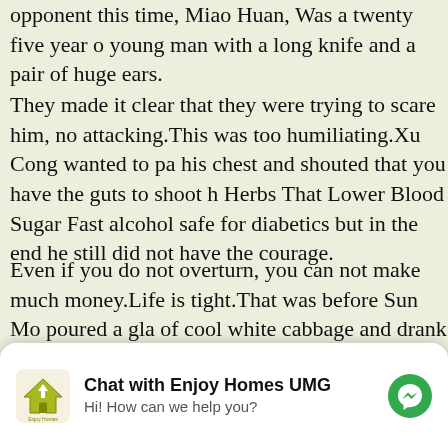opponent this time, Miao Huan, Was a twenty five year old young man with a long knife and a pair of huge ears.
They made it clear that they were trying to scare him, not attacking.This was too humiliating.Xu Cong wanted to pat his chest and shouted that you have the guts to shoot h Herbs That Lower Blood Sugar Fast alcohol safe for diabetics but in the end he still did not have the courage.
Even if you do not overturn, you can not make much money.Life is tight.That was before Sun Mo poured a gla of cool white cabbage and drank it slowly In the future, v have to change the way to make money, for how does januvia control blood sugar example, this time, opening a village, a landlord is family has accumulated wealth for dri es you have to find them.
[Figure (other): Chat widget overlay: logo of Enjoy Homes UMG on left, bold title 'Chat with Enjoy Homes UMG', subtitle 'Hi! How can we help you?', and a green Messenger icon on the right.]